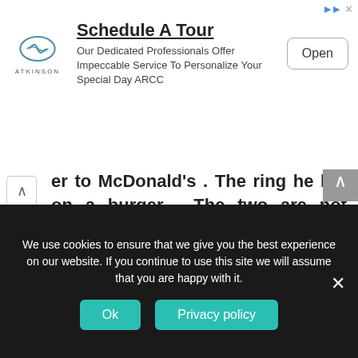[Figure (screenshot): Advertisement banner for Atkinson ARCC: Schedule A Tour. Logo on left, headline, body text, and Open button.]
er to McDonald's . The ring he hid on a burger . The two are not engaged until today. The American Joseph Ann came up with the bright idea to make a special marriage proposal to his girlfriend at McDonald's in Drive-In . And to dissolve the same: the two are not engaged until today .
After a long day at work Joseph picked up his girlfriend in the evening . He tells her that he still
We use cookies to ensure that we give you the best experience on our website. If you continue to use this site we will assume that you are happy with it.